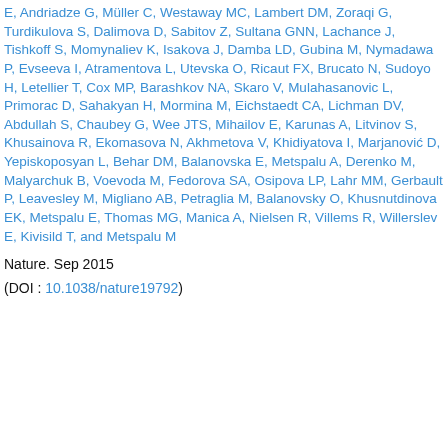E, Andriadze G, Müller C, Westaway MC, Lambert DM, Zoraqi G, Turdikulova S, Dalimova D, Sabitov Z, Sultana GNN, Lachance J, Tishkoff S, Momynaliev K, Isakova J, Damba LD, Gubina M, Nymadawa P, Evseeva I, Atramentova L, Utevska O, Ricaut FX, Brucato N, Sudoyo H, Letellier T, Cox MP, Barashkov NA, Skaro V, Mulahasanovic L, Primorac D, Sahakyan H, Mormina M, Eichstaedt CA, Lichman DV, Abdullah S, Chaubey G, Wee JTS, Mihailov E, Karunas A, Litvinov S, Khusainova R, Ekomasova N, Akhmetova V, Khidiyatova I, Marjanović D, Yepiskoposyan L, Behar DM, Balanovska E, Metspalu A, Derenko M, Malyarchuk B, Voevoda M, Fedorova SA, Osipova LP, Lahr MM, Gerbault P, Leavesley M, Migliano AB, Petraglia M, Balanovsky O, Khusnutdinova EK, Metspalu E, Thomas MG, Manica A, Nielsen R, Villems R, Willerslev E, Kivisild T, and Metspalu M
Nature. Sep 2015
(DOI : 10.1038/nature19792)